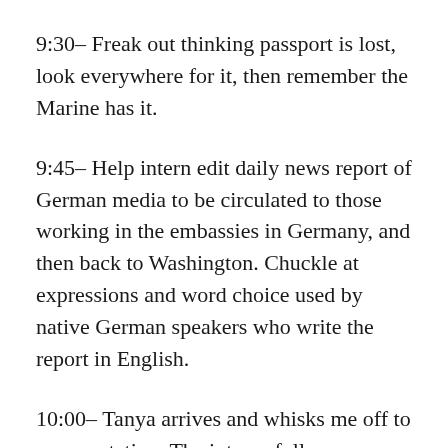9:30– Freak out thinking passport is lost, look everywhere for it, then remember the Marine has it.
9:45– Help intern edit daily news report of German media to be circulated to those working in the embassies in Germany, and then back to Washington. Chuckle at expressions and word choice used by native German speakers who write the report in English.
10:00– Tanya arrives and whisks me off to a presentation. The interns follow.